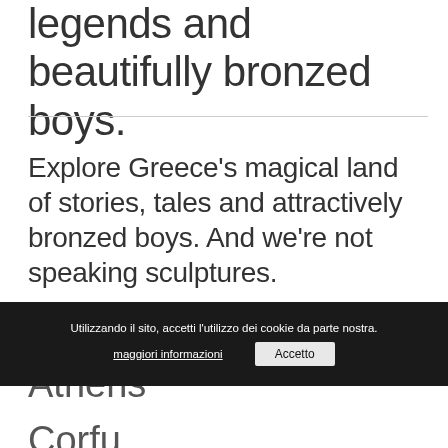legends and beautifully bronzed boys.
Explore Greece's magical land of stories, tales and attractively bronzed boys. And we're not speaking sculptures.
Athens
Utilizzando il sito, accetti l'utilizzo dei cookie da parte nostra. maggiori informazioni | Accetto
Corfu